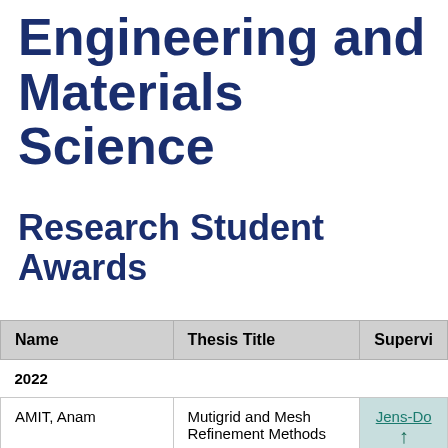Engineering and Materials Science
Research Student Awards
| Name | Thesis Title | Supervi... |
| --- | --- | --- |
| 2022 |  |  |
| AMIT, Anam | Mutigrid and Mesh Refinement Methods | Jens-Do... |
| DARR, Meredit... | Evolution of the Solid... | Mo... |